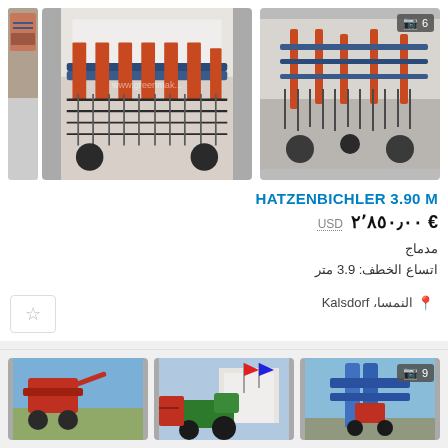[Figure (photo): Agricultural machinery - Hatzenbichler cultivator/harrow, front view, blue and orange, in a yard]
[Figure (photo): Agricultural machinery - Hatzenbichler cultivator/harrow, side-front view, orange and blue, on pavement, with photo count badge showing 6]
HATZENBICHLER 3.90 M
USD  € ٢٬٨٥٠٫٠٠
مدماج
اتساع الخطف: 3.9 متر
النمسا، Kalsdorf
[Figure (photo): Agricultural machinery photo thumbnail 1 - red equipment]
[Figure (photo): Agricultural machinery photo thumbnail 2 - tractor with equipment in yard]
[Figure (photo): Agricultural machinery photo thumbnail 3 - blue tall equipment, with photo count badge showing 9]